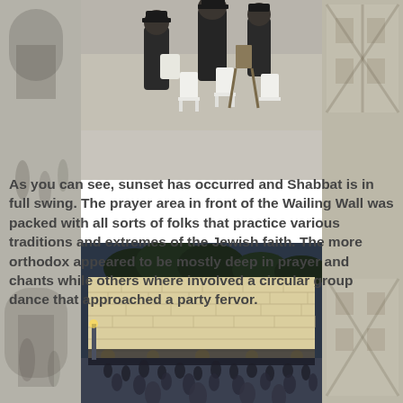[Figure (photo): Top center photo: Orthodox Jewish men in black coats at what appears to be an outdoor area, with white plastic chairs visible. Background shows street scene.]
[Figure (photo): Left side background collage: faded street/archway scene with people walking.]
[Figure (photo): Right side background collage: faded European-style half-timbered buildings.]
As you can see, sunset has occurred and Shabbat is in full swing.  The prayer area in front of the Wailing Wall was packed with all sorts of folks that practice various traditions and extremes of the Jewish faith.  The more orthodox appeared to be mostly deep in prayer and chants while others where involved a circular group dance that approached a party fervor.
[Figure (photo): Bottom center photo: Night scene at the Wailing Wall (Western Wall) in Jerusalem, large illuminated stone wall with crowds of people gathered in the plaza below.]